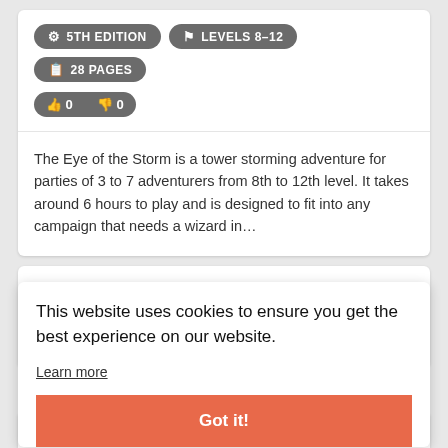5TH EDITION
LEVELS 8-12
28 PAGES
0  0
The Eye of the Storm is a tower storming adventure for parties of 3 to 7 adventurers from 8th to 12th level. It takes around 6 hours to play and is designed to fit into any campaign that needs a wizard in…
DDAL08-03 Dock Ward Double-Cross
This website uses cookies to ensure you get the best experience on our website.
Learn more
Got it!
Pathfinder Adventure Path #73: The